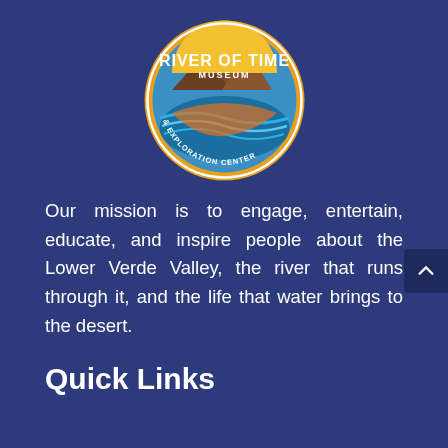[Figure (logo): River of Time Museum & Exploration Center circular logo with mountains, river/water, orange and blue color scheme on dark blue background]
Our mission is to engage, entertain, educate, and inspire people about the Lower Verde Valley, the river that runs through it, and the life that water brings to the desert.
Quick Links